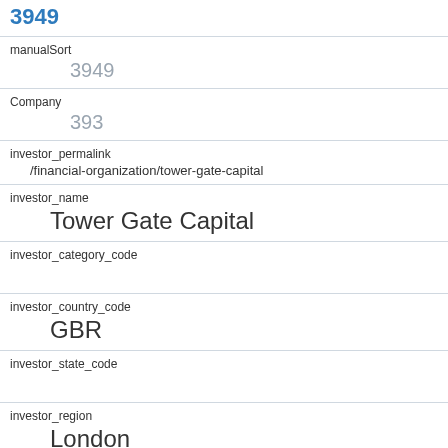3949
manualSort
3949
Company
393
investor_permalink
/financial-organization/tower-gate-capital
investor_name
Tower Gate Capital
investor_category_code
investor_country_code
GBR
investor_state_code
investor_region
London
investor_city
Mayfair
funding_round_type
venture